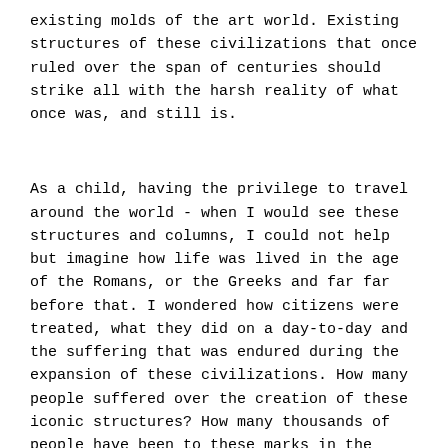existing molds of the art world. Existing structures of these civilizations that once ruled over the span of centuries should strike all with the harsh reality of what once was, and still is.
As a child, having the privilege to travel around the world - when I would see these structures and columns, I could not help but imagine how life was lived in the age of the Romans, or the Greeks and far far before that. I wondered how citizens were treated, what they did on a day-to-day and the suffering that was endured during the expansion of these civilizations. How many people suffered over the creation of these iconic structures? How many thousands of people have been to these marks in the land? That's a lot of a child to conceptualize, but I did. I always saw the world that way.